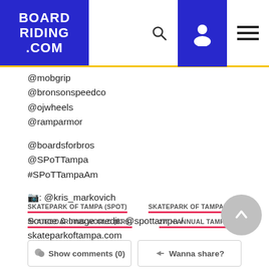BOARDRIDING.COM
@mobgrip
@bronsonspeedco
@ojwheels
@ramparmor

@boardsforbros
@SPoTTampa
#SPoTTampaAm

🏢: @kris_markovich

Source & Image credit: @spottampa / skateparkoftampa.com
SKATEPARK OF TAMPA (SPOT)   SKATEPARK OF TAMPA – SPOT
SKATEBOARDING WORLD (BRS)   27TH ANNUAL TAMPA A…
Show comments (0)   Wanna share?